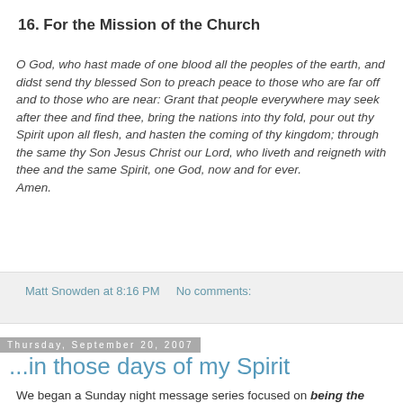16. For the Mission of the Church
O God, who hast made of one blood all the peoples of the earth, and didst send thy blessed Son to preach peace to those who are far off and to those who are near: Grant that people everywhere may seek after thee and find thee, bring the nations into thy fold, pour out thy Spirit upon all flesh, and hasten the coming of thy kingdom; through the same thy Son Jesus Christ our Lord, who liveth and reigneth with thee and the same Spirit, one God, now and for ever. Amen.
Matt Snowden at 8:16 PM   No comments:
Thursday, September 20, 2007
...in those days of my Spirit
We began a Sunday night message series focused on being the presence of Christ in the world last week. The